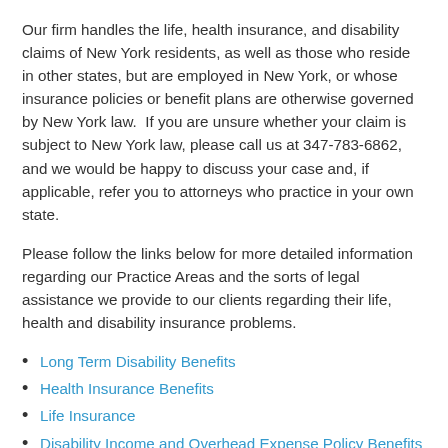Our firm handles the life, health insurance, and disability claims of New York residents, as well as those who reside in other states, but are employed in New York, or whose insurance policies or benefit plans are otherwise governed by New York law.  If you are unsure whether your claim is subject to New York law, please call us at 347-783-6862, and we would be happy to discuss your case and, if applicable, refer you to attorneys who practice in your own state.
Please follow the links below for more detailed information regarding our Practice Areas and the sorts of legal assistance we provide to our clients regarding their life, health and disability insurance problems.
Long Term Disability Benefits
Health Insurance Benefits
Life Insurance
Disability Income and Overhead Expense Policy Benefits